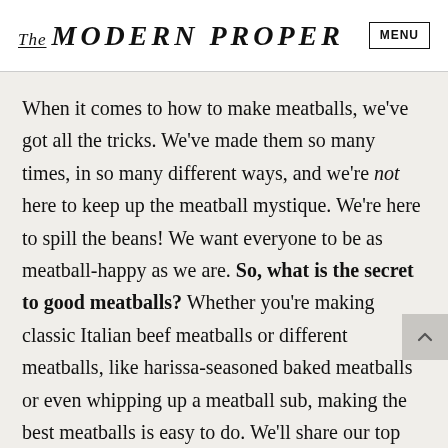The MODERN PROPER
When it comes to how to make meatballs, we've got all the tricks. We've made them so many times, in so many different ways, and we're not here to keep up the meatball mystique. We're here to spill the beans! We want everyone to be as meatball-happy as we are. So, what is the secret to good meatballs? Whether you're making classic Italian beef meatballs or different meatballs, like harissa-seasoned baked meatballs or even whipping up a meatball sub, making the best meatballs is easy to do. We'll share our top three tips to make sure you really know how to cook meatballs before you dive into these 18 meatball recipes: